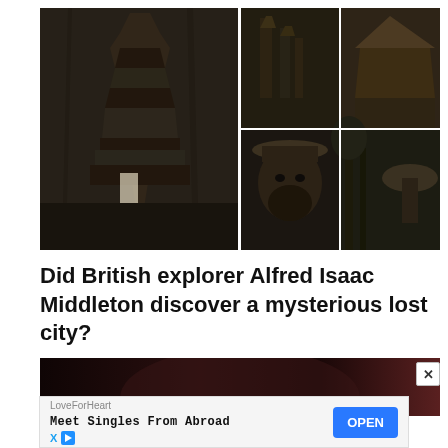[Figure (photo): Collage of black-and-white historical photographs showing a temple tower (left, with a person in pith helmet standing in front), and four smaller images on the right: ancient stone structures/totems (top left), thatched roof structure (top right), bearded man in pith helmet close-up (bottom left), jungle scene with large mushroom-like structure (bottom right)]
Did British explorer Alfred Isaac Middleton discover a mysterious lost city?
[Figure (photo): Partially visible dark reddish-brown image, appears to be a landscape or mountainous scene, mostly obscured]
LoveForHeart
Meet Singles From Abroad
OPEN